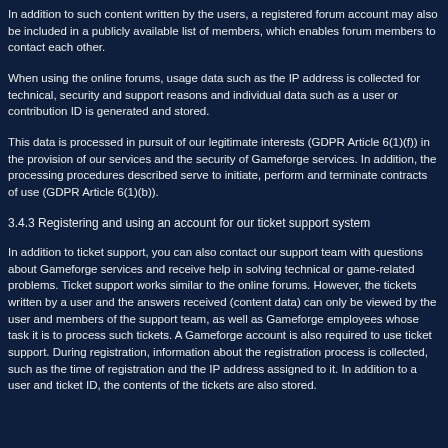In addition to such content written by the users, a registered forum account may also be included in a publicly available list of members, which enables forum members to contact each other.
When using the online forums, usage data such as the IP address is collected for technical, security and support reasons and individual data such as a user or contribution ID is generated and stored.
This data is processed in pursuit of our legitimate interests (GDPR Article 6(1)(f)) in the provision of our services and the security of Gameforge services. In addition, the processing procedures described serve to initiate, perform and terminate contracts of use (GDPR Article 6(1)(b)).
3.4.3 Registering and using an account for our ticket support system
In addition to ticket support, you can also contact our support team with questions about Gameforge services and receive help in solving technical or game-related problems. Ticket support works similar to the online forums. However, the tickets written by a user and the answers received (content data) can only be viewed by the user and members of the support team, as well as Gameforge employees whose task it is to process such tickets. A Gameforge account is also required to use ticket support. During registration, information about the registration process is collected, such as the time of registration and the IP address assigned to it. In addition to a user and ticket ID, the contents of the tickets are also stored.